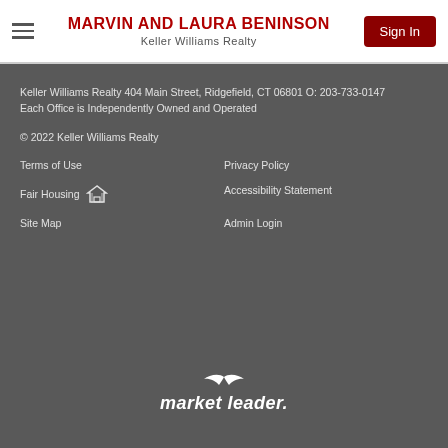MARVIN AND LAURA BENINSON | Keller Williams Realty | Sign In
Keller Williams Realty 404 Main Street, Ridgefield, CT 06801 O: 203-733-0147
Each Office is Independently Owned and Operated
© 2022 Keller Williams Realty
Terms of Use
Privacy Policy
Fair Housing
Accessibility Statement
Site Map
Admin Login
[Figure (logo): market leader. logo in white italic text]